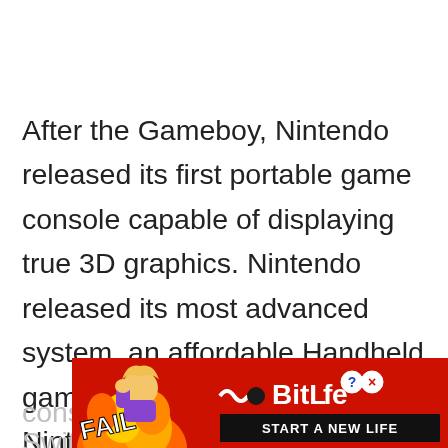After the Gameboy, Nintendo released its first portable game console capable of displaying true 3D graphics. Nintendo released its most advanced system, an affordable Handheld game console named the Nintendo Switch Lite. This cons[ole is the all-new, more compac]do Swit[ch Lite that plays all the N]ames
[Figure (other): BitLife advertisement banner with cartoon character, flames, fail text, BitLife logo with question mark and X buttons, and 'START A NEW LIFE' text on dark background]